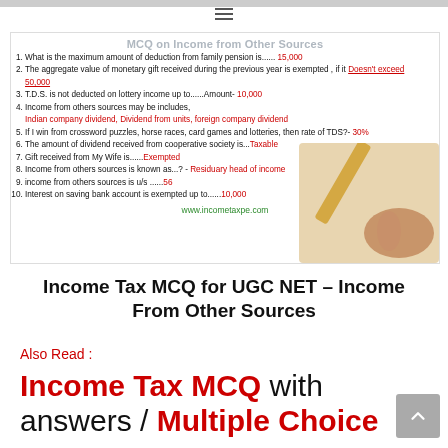[Figure (infographic): MCQ on Income from Other Sources infographic listing 10 MCQ answers with a hand holding pencil image. Title: MCQ on Income from Other Sources. Questions and answers listed 1-10.]
Income Tax MCQ for UGC NET – Income From Other Sources
Also Read :
Income Tax MCQ with answers / Multiple Choice